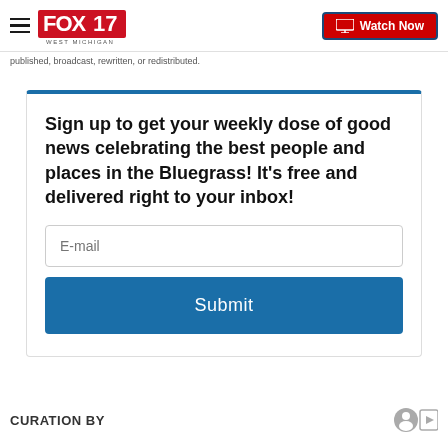FOX 17 WEST MICHIGAN | Watch Now
published, broadcast, rewritten, or redistributed.
Sign up to get your weekly dose of good news celebrating the best people and places in the Bluegrass! It's free and delivered right to your inbox!
CURATION BY